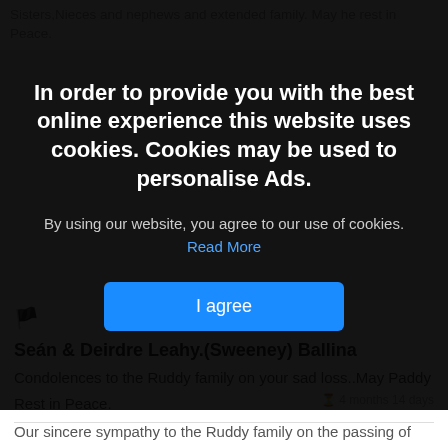Sisters,Nieces and nephews and extended family. May he rest in Peace.
[Figure (screenshot): Cookie consent overlay banner with dark semi-transparent background. Title: 'In order to provide you with the best online experience this website uses cookies. Cookies may be used to personalise Ads.' Body text with 'Read More' link in blue. Blue 'I agree' button.]
Eamonn and Geraldine Padden
4 months 14 days
Our sincere sympathy to the Ruddy family on the passing of Paddy May he rest in peace
🏴
Seán & Deirdre Leahy.(Sweeney) Ballina
4 months 14 days
Condolences to the Ruddy family on your sad loss..May Paddy Rest in Peace.